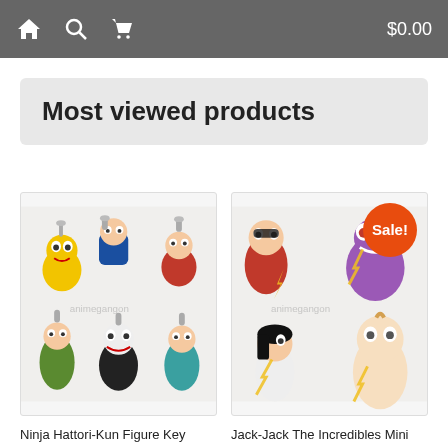Home | Search | Cart | $0.00
Most viewed products
[Figure (photo): Ninja Hattori-Kun Figure Key Chain product photo showing 6 anime character keychains]
Ninja Hattori-Kun Figure Key Chain
$49.00
[Figure (photo): Jack-Jack The Incredibles Mini Gashapon Figures product photo with Sale badge, showing 5 Incredibles character mini figures]
Jack-Jack The Incredibles Mini Gashapon Figures
$42.00  $38.00